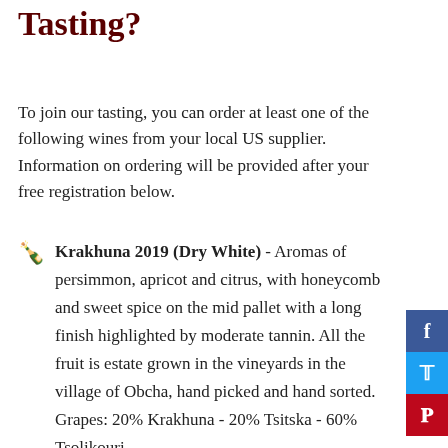Tasting?
To join our tasting, you can order at least one of the following wines from your local US supplier. Information on ordering will be provided after your free registration below.
Krakhuna 2019 (Dry White) - Aromas of persimmon, apricot and citrus, with honeycomb and sweet spice on the mid pallet with a long finish highlighted by moderate tannin. All the fruit is estate grown in the vineyards in the village of Obcha, hand picked and hand sorted. Grapes: 20% Krakhuna - 20% Tsitska - 60% Tsolikouri
Fermentation: Inside Qvevri (Clay Amphora)
Maceration: 3 months, only 20% of Skin...